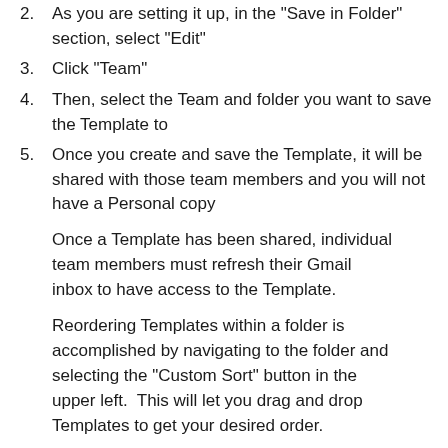2. As you are setting it up, in the "Save in Folder" section, select "Edit"
3. Click "Team"
4. Then, select the Team and folder you want to save the Template to
5. Once you create and save the Template, it will be shared with those team members and you will not have a Personal copy
Once a Template has been shared, individual team members must refresh their Gmail inbox to have access to the Template.
Reordering Templates within a folder is accomplished by navigating to the folder and selecting the "Custom Sort" button in the upper left.  This will let you drag and drop Templates to get your desired order.
[Figure (screenshot): Screenshot showing a folder named 'Account Management (30)' with edit and delete icons, a 'Data updated: Sep 13, 2019, 6:00 AM' bar, and a 'Template Name' column header with a sort arrow.]